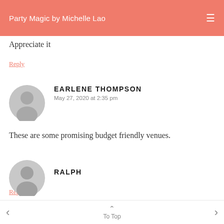Party Magic by Michelle Lao
Appreciate it
Reply
EARLENE THOMPSON
May 27, 2020 at 2:35 pm
These are some promising budget friendly venues.
Reply
RALPH
To Top